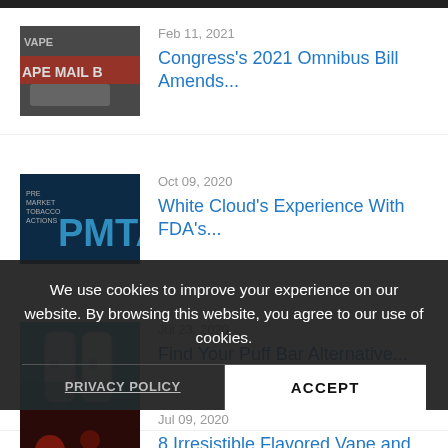[Figure (photo): Thumbnail image of a truck with 'APE MAIL B' text overlay in red and white, related to vape mail ban article]
Feb 11, 2021
Congress's 2021 Omnibus Bill Amends...
[Figure (photo): Thumbnail image with dark background and 'PMTA' text in large letters, with PRE MARKET TOBACCO APPLICATIONS text, blue toned]
Oct 09, 2020
White Cloud's Experience With FDA's...
[Figure (photo): Thumbnail image of vape devices on blue background]
Jul 23, 2020
Find Your Puff Bar Alternative...
[Figure (photo): Partially visible thumbnail with dark red and food items on dark background]
Jul 09, 2020
8 Irresistible Flavored Vape and...
We use cookies to improve your experience on our website. By browsing this website, you agree to our use of cookies.
PRIVACY POLICY
ACCEPT